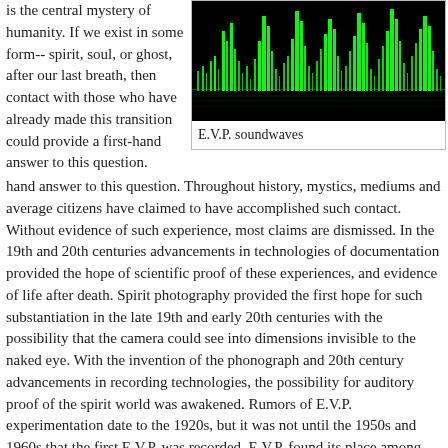is the central mystery of humanity. If we exist in some form-- spirit, soul, or ghost, after our last breath, then contact with those who have already made this transition could provide a first-hand answer to this question.
[Figure (continuous-plot): E.V.P. soundwaves — green waveform spikes on black background showing audio frequency visualization]
E.V.P. soundwaves
Throughout history, mystics, mediums and average citizens have claimed to have accomplished such contact. Without evidence of such experience, most claims are dismissed. In the 19th and 20th centuries advancements in technologies of documentation provided the hope of scientific proof of these experiences, and evidence of life after death. Spirit photography provided the first hope for such substantiation in the late 19th and early 20th centuries with the possibility that the camera could see into dimensions invisible to the naked eye. With the invention of the phonograph and 20th century advancements in recording technologies, the possibility for auditory proof of the spirit world was awakened. Rumors of E.V.P. experimentation date to the 1920s, but it was not until the 1950s and 1960s that the first E.V.P. was recorded. E.V.P. found its place among paranormal hobbyists in the 1970s, but its popularity is generally attributed to two men, stemming from two separate traditions: psychic Attila Von Szalay in